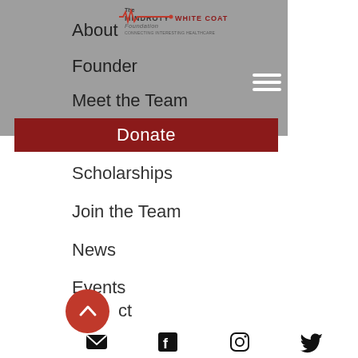[Figure (logo): The Minority White Coat Foundation logo with red heartbeat line]
About
Founder
Meet the Team
Donate
Scholarships
Join the Team
News
Events
Contact
[Figure (infographic): Red circular scroll-to-top button with upward chevron arrow]
[Figure (infographic): Footer with social media icons: email, Facebook, Instagram, Twitter]